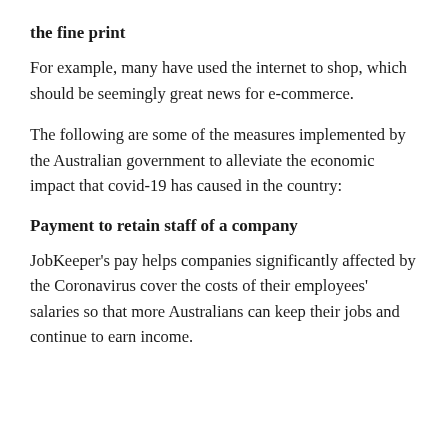the fine print
For example, many have used the internet to shop, which should be seemingly great news for e-commerce.
The following are some of the measures implemented by the Australian government to alleviate the economic impact that covid-19 has caused in the country:
Payment to retain staff of a company
JobKeeper's pay helps companies significantly affected by the Coronavirus cover the costs of their employees' salaries so that more Australians can keep their jobs and continue to earn income.